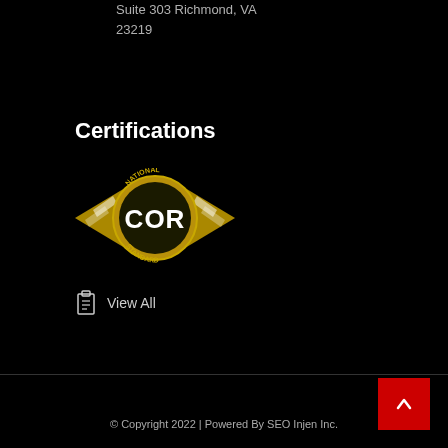Suite 303 Richmond, VA 23219
Certifications
[Figure (logo): National Standard COR certification logo with gold and black design, wings and circular badge with 'COR' text in white on gold background]
View All
© Copyright 2022 | Powered By SEO Injen Inc.